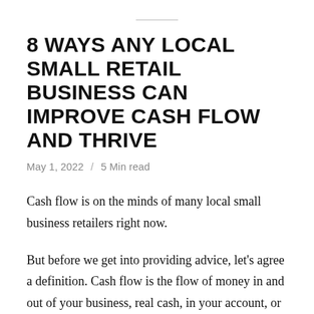8 WAYS ANY LOCAL SMALL RETAIL BUSINESS CAN IMPROVE CASH FLOW AND THRIVE
May 1, 2022  /  5 Min read
Cash flow is on the minds of many local small business retailers right now.
But before we get into providing advice, let's agree a definition. Cash flow is the flow of money in and out of your business, real cash, in your account, or in your safe. Cash in comes from sales or products and